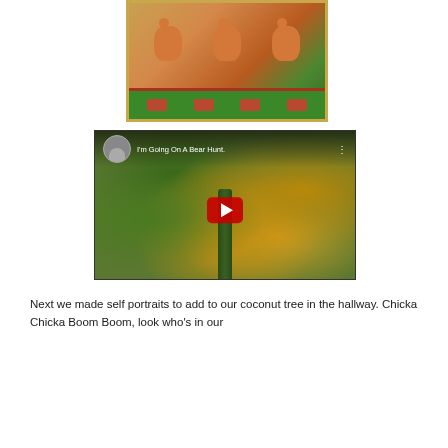[Figure (illustration): Decorative folk-art style illustration showing bears with ornamental border, green bottom strip and red/brown decorative elements]
[Figure (screenshot): YouTube video thumbnail titled 'I'm Going On A Bear Hunt.' showing an aerial autumn forest scene with yellow and orange foliage, a tree trunk visible, with a red YouTube play button overlay, child's avatar photo, and three-dot menu icon]
Next we made self portraits to add to our coconut tree in the hallway. Chicka Chicka Boom Boom, look who's in our